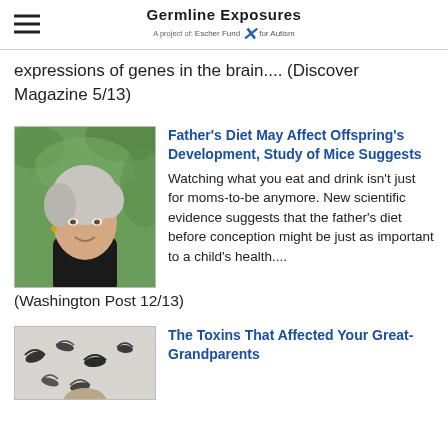Germline Exposures — A project of: Escher Fund for Autism
expressions of genes in the brain.... (Discover Magazine 5/13)
[Figure (photo): Portrait of a woman with gray-streaked hair, smiling, outdoors with green background]
Father's Diet May Affect Offspring's Development, Study of Mice Suggests
Watching what you eat and drink isn't just for moms-to-be anymore. New scientific evidence suggests that the father's diet before conception might be just as important to a child's health.... (Washington Post 12/13)
[Figure (photo): Birds in flight, black and white/grayscale image]
The Toxins That Affected Your Great-Grandparents